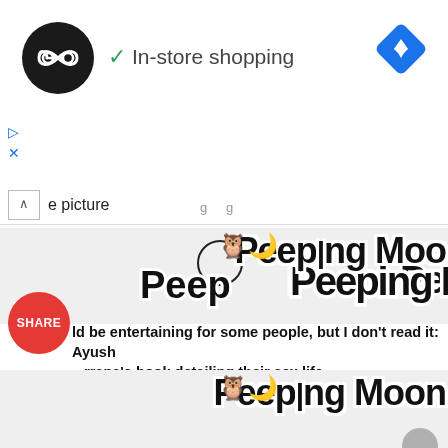[Figure (screenshot): Google Maps or ad UI showing logo circle with infinity symbol, checkmark, 'In-store shopping' label, and blue diamond navigation icon]
In-store shopping
e picture
[Figure (logo): Peeping Moon website logo - cartoon owl on crescent moon]
ld be entertaining for some people, but I don't read it: Ayush...rrana's book detailing their sex life
[Figure (logo): Peeping Moon website logo - cartoon owl on crescent moon (second instance)]